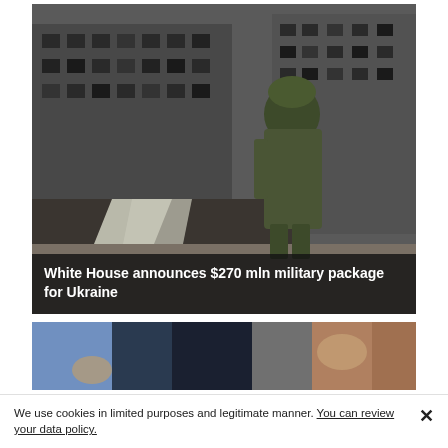[Figure (photo): A soldier in military camouflage uniform and green helmet stands in front of a heavily war-damaged multi-story apartment building with blown-out windows and charred facades. Debris and rubble are visible on the ground. The image is in muted, dark tones.]
White House announces $270 mln military package for Ukraine
[Figure (photo): Partial view of a second image showing what appears to be hands and objects on a surface, partially visible, cropped at the bottom of the page.]
We use cookies in limited purposes and legitimate manner. You can review your data policy.